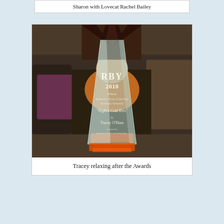Sharon with Lovecat Rachel Bailey
[Figure (photo): Photo of a glass award trophy in the foreground with 'RBY 2010 Winner Romantic Book of the Year (Romantic Elements) Night's Cold Kiss by Tracey O'Hara presented by Romance Writers of Australia Inc.' engraved on it. A woman is sitting relaxed on a couch in the background.]
Tracey relaxing after the Awards